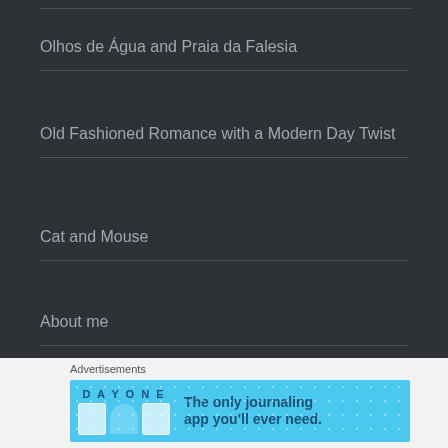Olhos de Água and Praia da Falesia
Old Fashioned Romance with a Modern Day Twist
Cat and Mouse
About me
Advertisements
[Figure (screenshot): DAY ONE app advertisement banner with blue background and text 'The only journaling app you'll ever need.']